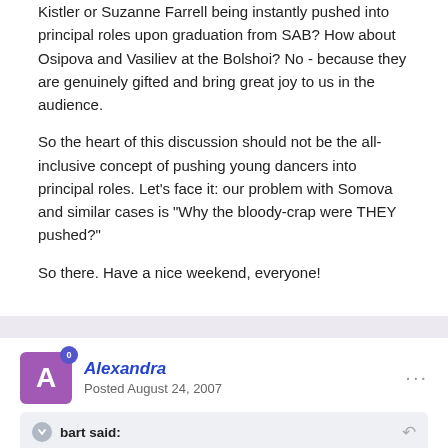Kistler or Suzanne Farrell being instantly pushed into principal roles upon graduation from SAB? How about Osipova and Vasiliev at the Bolshoi? No - because they are genuinely gifted and bring great joy to us in the audience.
So the heart of this discussion should not be the all-inclusive concept of pushing young dancers into principal roles. Let's face it: our problem with Somova and similar cases is "Why the bloody-crap were THEY pushed?"
So there. Have a nice weekend, everyone!
Alexandra
Posted August 24, 2007
bart said:
carbro said: